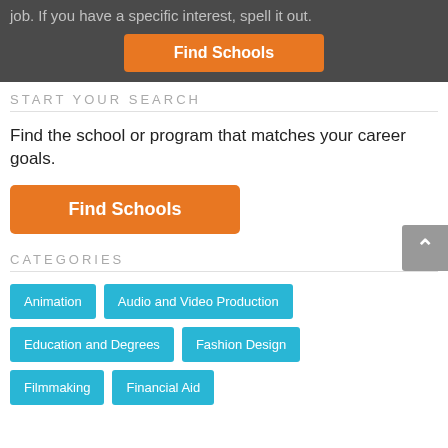job. If you have a specific interest, spell it out.
[Figure (screenshot): Orange 'Find Schools' button in dark gray header bar]
START YOUR SEARCH
Find the school or program that matches your career goals.
[Figure (screenshot): Orange 'Find Schools' button]
CATEGORIES
Animation
Audio and Video Production
Education and Degrees
Fashion Design
Filmmaking
Financial Aid